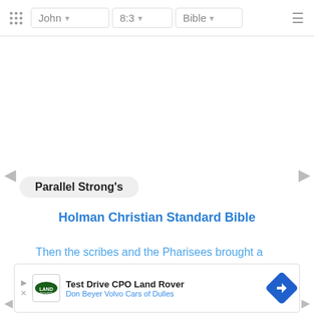John | 8:3 | Bible
Parallel Strong's
Holman Christian Standard Bible
Then the scribes and the Pharisees brought a woman caught in adultery, making her stand in the center.
[Figure (other): Advertisement banner: Test Drive CPO Land Rover - Don Beyer Volvo Cars of Dulles, with Land Rover logo and blue diamond navigation icon]